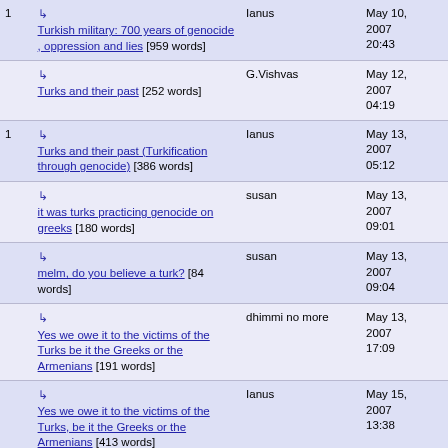| # | Title | Author | Date |
| --- | --- | --- | --- |
| 1 | ↳ Turkish military: 700 years of genocide , oppression and lies [959 words] | Ianus | May 10, 2007 20:43 |
|  | ↳ Turks and their past [252 words] | G.Vishvas | May 12, 2007 04:19 |
| 1 | ↳ Turks and their past (Turkification through genocide) [386 words] | Ianus | May 13, 2007 05:12 |
|  | ↳ it was turks practicing genocide on greeks [180 words] | susan | May 13, 2007 09:01 |
|  | ↳ melm, do you believe a turk? [84 words] | susan | May 13, 2007 09:04 |
|  | ↳ Yes we owe it to the victims of the Turks be it the Greeks or the Armenians [191 words] | dhimmi no more | May 13, 2007 17:09 |
|  | ↳ Yes we owe it to the victims of the Turks, be it the Greeks or the Armenians [413 words] | Ianus | May 15, 2007 13:38 |